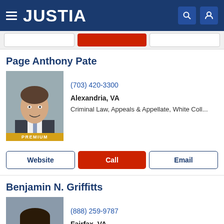JUSTIA
Page Anthony Pate
[Figure (photo): Professional headshot of Page Anthony Pate in suit and tie]
(703) 420-3300
Alexandria, VA
Criminal Law, Appeals & Appellate, White Coll...
Benjamin N. Griffitts
[Figure (photo): Professional headshot of Benjamin N. Griffitts in suit and tie]
(888) 259-9787
Fairfax, VA
Personal Injury, Criminal Law, Estate Planning,...